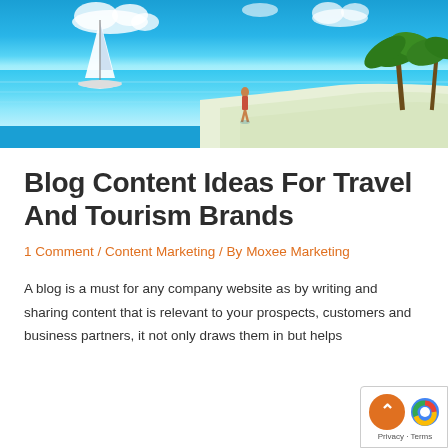[Figure (photo): Tropical beach scene with turquoise water, white sand beach, a person standing in shallow water, a sailboat anchored nearby, and palm trees on the right.]
Blog Content Ideas For Travel And Tourism Brands
1 Comment / Content Marketing / By Moxee Marketing
A blog is a must for any company website as by writing and sharing content that is rele to your prospects, customers and busine partners, it not only draws them in but helps